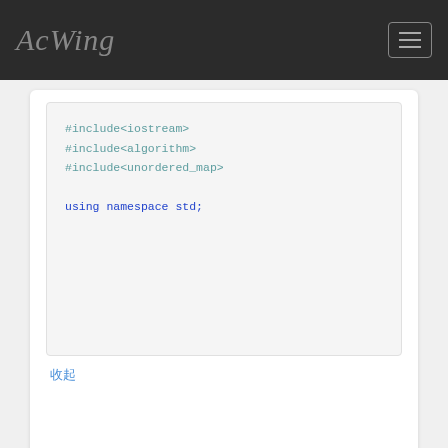AcWing
#include<iostream>
#include<algorithm>
#include<unordered_map>

using namespace std;
收起
♡ 1  💬 回复  ☆ 收藏
用户名称七个字
AcWing 3447. 四个字
回复楼主
2楼
// map 存储哈希表中的元素，该方法1 空间
#include<iostream>
#include<algorithm>
#include<string>